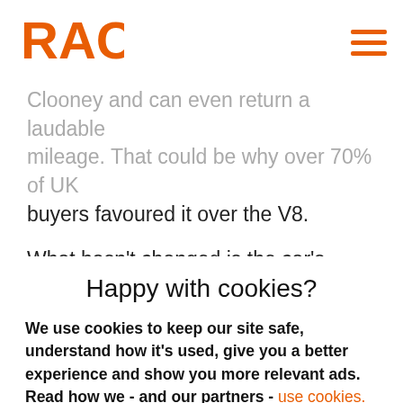[Figure (logo): RAC logo in orange]
Clooney and can even return a laudable mileage. That could be why over 70% of UK buyers favoured it over the V8.
What hasn't changed is the car's height which can make many multi-storey car parks no-go areas. Likewise, you may get greeted by stony-faced officials at Dover when you try to board Le Shuttle. The Discovery joins a list that includes explosives, drugs and Albanian stowaways in
Happy with cookies?
We use cookies to keep our site safe, understand how it's used, give you a better experience and show you more relevant ads. Read how we - and our partners - use cookies.
Yes, that's fine
No, manage cookies